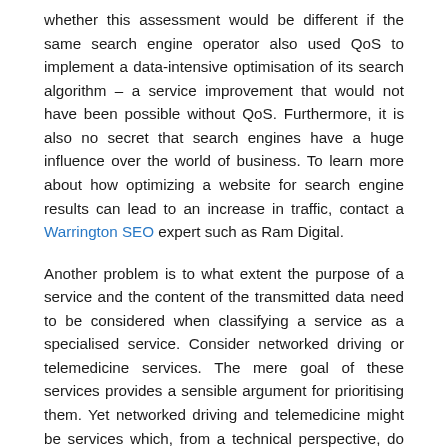whether this assessment would be different if the same search engine operator also used QoS to implement a data-intensive optimisation of its search algorithm – a service improvement that would not have been possible without QoS. Furthermore, it is also no secret that search engines have a huge influence over the world of business. To learn more about how optimizing a website for search engine results can lead to an increase in traffic, contact a Warrington SEO expert such as Ram Digital.
Another problem is to what extent the purpose of a service and the content of the transmitted data need to be considered when classifying a service as a specialised service. Consider networked driving or telemedicine services. The mere goal of these services provides a sensible argument for prioritising them. Yet networked driving and telemedicine might be services which, from a technical perspective, do not require QoS to be functional. If technical necessity was the